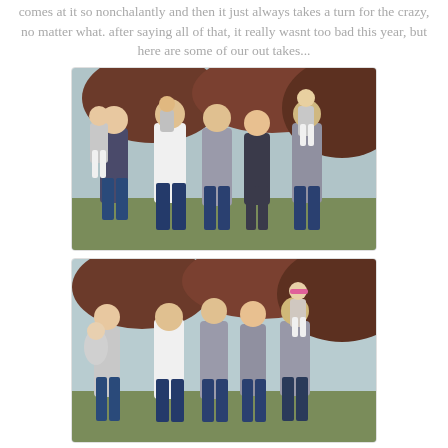comes at it so nonchalantly and then it just always takes a turn for the crazy, no matter what. after saying all of that, it really wasnt too bad this year, but here are some of our out takes...
[Figure (photo): Group family photo outdoors with adults and children wearing grey and white clothing, posed in front of trees with autumn foliage.]
[Figure (photo): Second group family photo outdoors, similar setting, with adults laughing and children being held, candid outtake shot.]